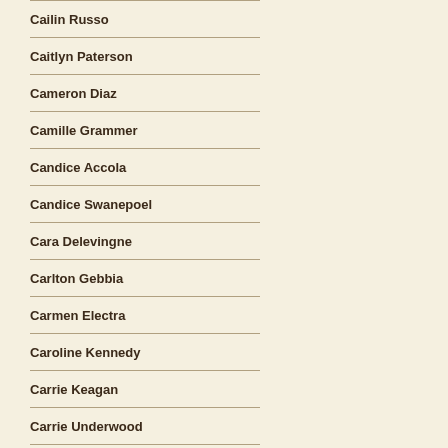Cailin Russo
Caitlyn Paterson
Cameron Diaz
Camille Grammer
Candice Accola
Candice Swanepoel
Cara Delevingne
Carlton Gebbia
Carmen Electra
Caroline Kennedy
Carrie Keagan
Carrie Underwood
Casey Batchelor
Cat Deeley
Catherine Guidici